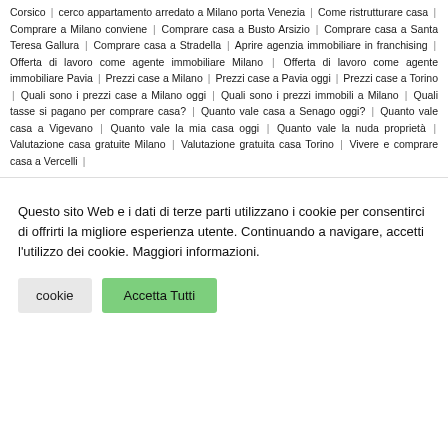Corsico | cerco appartamento arredato a Milano porta Venezia | Come ristrutturare casa | Comprare a Milano conviene | Comprare casa a Busto Arsizio | Comprare casa a Santa Teresa Gallura | Comprare casa a Stradella | Aprire agenzia immobiliare in franchising | Offerta di lavoro come agente immobiliare Milano | Offerta di lavoro come agente immobiliare Pavia | Prezzi case a Milano | Prezzi case a Pavia oggi | Prezzi case a Torino | Quali sono i prezzi case a Milano oggi | Quali sono i prezzi immobili a Milano | Quali tasse si pagano per comprare casa? | Quanto vale casa a Senago oggi? | Quanto vale casa a Vigevano | Quanto vale la mia casa oggi | Quanto vale la nuda proprietà | Valutazione casa gratuite Milano | Valutazione gratuita casa Torino | Vivere e comprare casa a Vercelli |
Questo sito Web e i dati di terze parti utilizzano i cookie per consentirci di offrirti la migliore esperienza utente. Continuando a navigare, accetti l'utilizzo dei cookie. Maggiori informazioni.